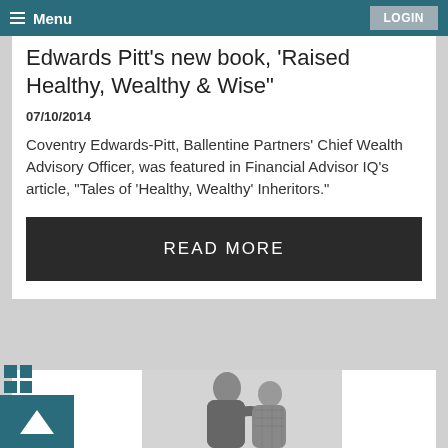≡ Menu   LOGIN
Edwards Pitt's new book, 'Raised Healthy, Wealthy & Wise"
07/10/2014
Coventry Edwards-Pitt, Ballentine Partners' Chief Wealth Advisory Officer, was featured in Financial Advisor IQ's article, "Tales of 'Healthy, Wealthy' Inheritors."
READ MORE
[Figure (photo): Black and white photo of two people from behind, one with arm around the other]